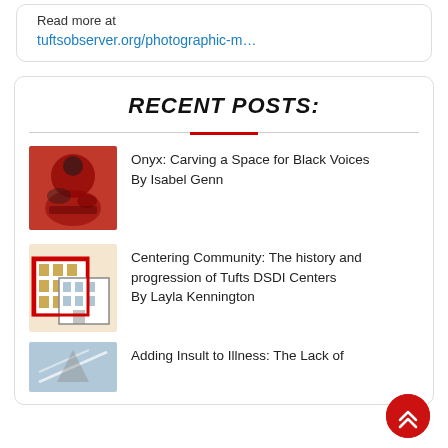Read more at
tuftsobserver.org/photographic-m…
RECENT POSTS:
Onyx: Carving a Space for Black Voices By Isabel Genn
Centering Community: The history and progression of Tufts DSDI Centers By Layla Kennington
Adding Insult to Illness: The Lack of